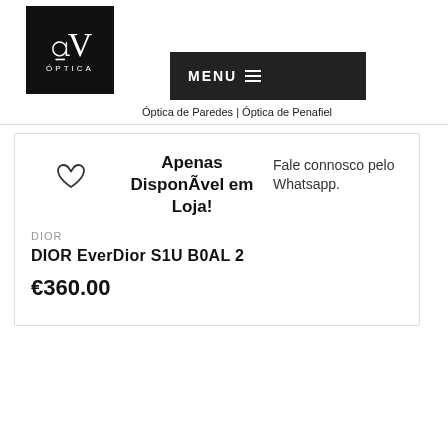[Figure (logo): OV Óptica logo — black square with white OV symbol and ÓPTICA text below]
MENU ☰
Óptica de Paredes | Óptica de Penafiel
Apenas DisponÃvel em Loja!  Fale connosco pelo Whatsapp.
DIOR
DIOR EverDior S1U B0AL 2
€360.00